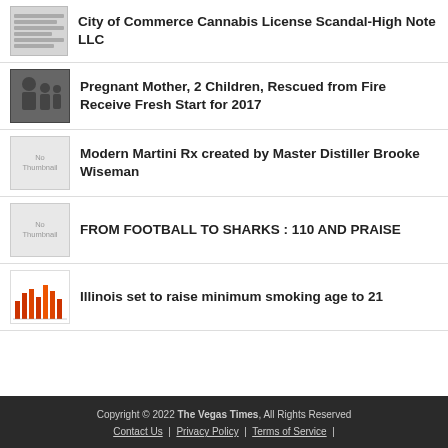City of Commerce Cannabis License Scandal-High Note LLC
Pregnant Mother, 2 Children, Rescued from Fire Receive Fresh Start for 2017
Modern Martini Rx created by Master Distiller Brooke Wiseman
FROM FOOTBALL TO SHARKS : 110 AND PRAISE
Illinois set to raise minimum smoking age to 21
Copyright © 2022 The Vegas Times, All Rights Reserved | Contact Us | Privacy Policy | Terms of Service |